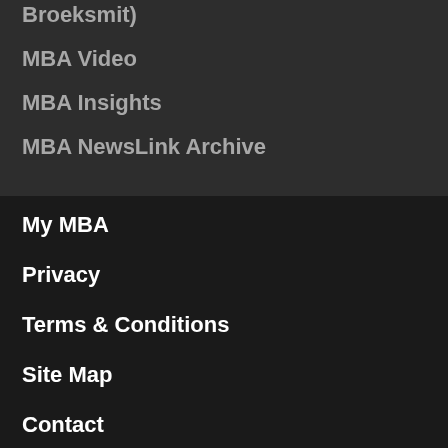Broeksmit)
MBA Video
MBA Insights
MBA NewsLink Archive
My MBA
Privacy
Terms & Conditions
Site Map
Contact